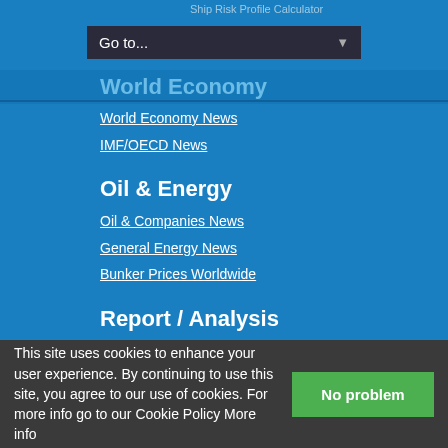Ship Risk Profile Calculator
Go to...
World Economy
World Economy News
IMF/OECD News
Oil & Energy
Oil & Companies News
General Energy News
Bunker Prices Worldwide
Report / Analysis
Weekly Dry Time Charter Estimates
Weekly Tanker Time Charter Estimates
Weekly Container Reports Index
Weekly Vessel Valuations Report
Daily Tanker Market Rates
Daily Bunker Report
Cheapest Bunker Port Matrix
This site uses cookies to enhance your user experience. By continuing to use this site, you agree to our use of cookies. For more info go to our Cookie Policy More info
No problem